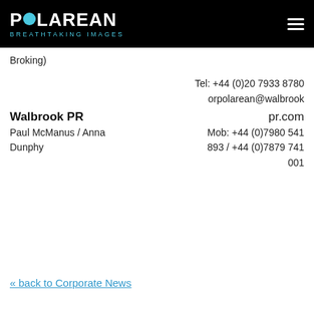POLAREAN BREATHTAKING IMAGES
Broking)
Tel: +44 (0)20 7933 8780
orpolarean@walbrook pr.com
Walbrook PR
Paul McManus / Anna Dunphy
Mob: +44 (0)7980 541 893 / +44 (0)7879 741 001
« back to Corporate News